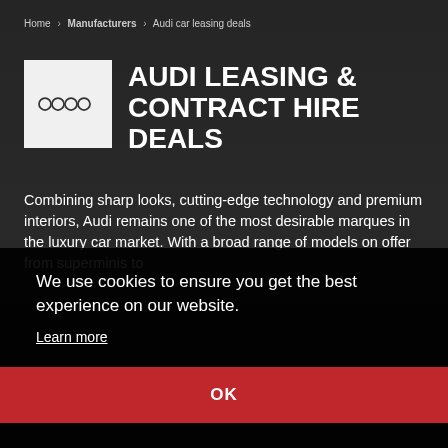Home > Manufacturers > Audi car leasing deals
[Figure (logo): Audi four-rings logo on white/light grey square background]
AUDI LEASING & CONTRACT HIRE DEALS
Combining sharp looks, cutting-edge technology and premium interiors, Audi remains one of the most desirable marques in the luxury car market. With a broad range of models on offer from superminis to
We use cookies to ensure you get the best experience on our website.
Learn more
OK